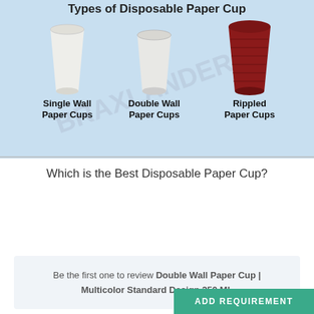[Figure (infographic): Infographic showing three types of disposable paper cups on a light blue background: Single Wall Paper Cups (white plain cup), Double Wall Paper Cups (white cup with slight taper), and Rippled Paper Cups (dark red ribbed cup). Title reads 'Types of Disposable Paper Cup' with a watermark 'BRAXLANDER'.]
Which is the Best Disposable Paper Cup?
Be the first one to review Double Wall Paper Cup | Multicolor Standard Design 250 ML
ADD REQUIREMENT